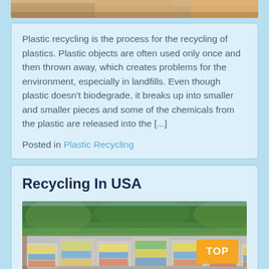[Figure (photo): Top cropped image strip showing part of a photo at the top of the page]
Plastic recycling is the process for the recycling of plastics. Plastic objects are often used only once and then thrown away, which creates problems for the environment, especially in landfills. Even though plastic doesn't biodegrade, it breaks up into smaller and smaller pieces and some of the chemicals from the plastic are released into the [...]
Posted in Plastic Recycling
Recycling In USA
[Figure (photo): Photo of large bales of compressed plastic recycling materials stacked outdoors with trees in the background. An orange badge in the bottom right reads 'TOP'.]